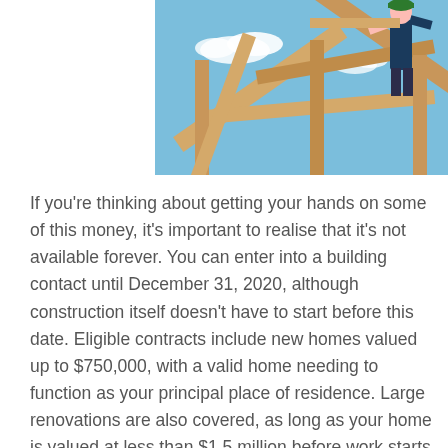[Figure (photo): Worker on a wooden roof frame structure under a blue sky with clouds, holding timber beams. Person wearing dark clothing and green helmet/hat.]
If you're thinking about getting your hands on some of this money, it's important to realise that it's not available forever. You can enter into a building contact until December 31, 2020, although construction itself doesn't have to start before this date. Eligible contracts include new homes valued up to $750,000, with a valid home needing to function as your principal place of residence. Large renovations are also covered, as long as your home is valued at less than $1.5 million before work starts and the renovations cost at least $150,000